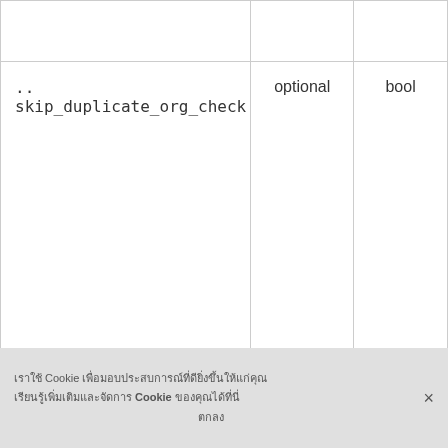|  |  |  |
| .. skip_duplicate_org_check | optional | bool |
| container | optional | object |
|  |  |  |
เราใช้ Cookie เพื่อมอบประสบการณ์ที่ดียิ่งขึ้นให้แก่คุณ เรียนรู้เพิ่มเติมและจัดการ Cookie ของคุณได้ที่นี่ ตกลง